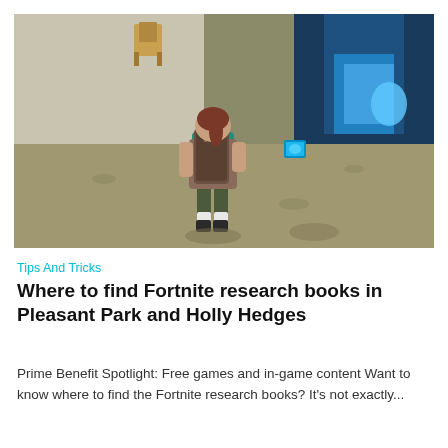[Figure (screenshot): In-game Fortnite screenshot showing a female character from behind, wearing teal top and brown shorts with a backpack, standing on a sandy outdoor area near a building with a blue glowing floor panel nearby.]
Tips And Tricks
Where to find Fortnite research books in Pleasant Park and Holly Hedges
Prime Benefit Spotlight: Free games and in-game content Want to know where to find the Fortnite research books? It's not exactly...